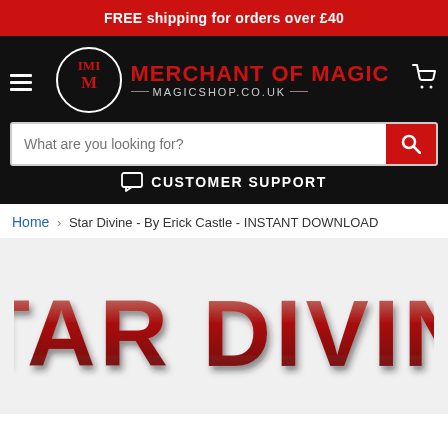FREE shipping for orders over £40
[Figure (logo): Merchant of Magic logo with circular IMM emblem and text MERCHANT OF MAGIC MAGICSHOP.CO.UK]
What are you looking for?
CUSTOMER SUPPORT
Home › Star Divine - By Erick Castle - INSTANT DOWNLOAD
[Figure (photo): Star Divine product image showing large red glittery text STAR DIVINE on light background]